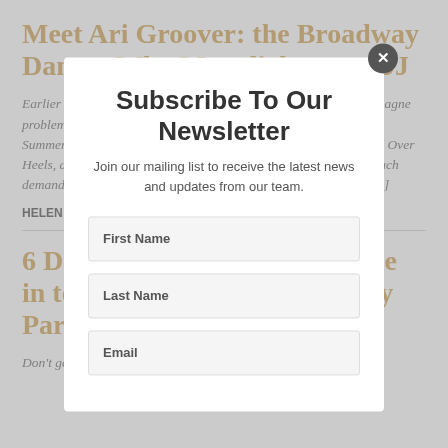Meet Ari Groover: the Broadway Dancer Who Moonlights as a DJ
Earlier this year, Ari Groover had a consummate Broadway champagne problem. She was offered a contract for both Summer: The Donna Summer Musical and Head Over Heels. She ultimately chose Head Over Heels, and watching her in the show, it's easy to see why she's in such demand. Groover is a consummate storyteller, imbuing Spencer [...]
HELEN HOPE   December 22nd, 2018
6 Dance-Filled Reasons to Tune in to Macy's Thanksgiving Day Parade
Don't get us wrong: We're totally looking forward to enjoying
[Figure (screenshot): Newsletter subscription modal overlay with title 'Subscribe To Our Newsletter', subtitle 'Join our mailing list to receive the latest news and updates from our team.', and form fields for First Name, Last Name, and Email.]